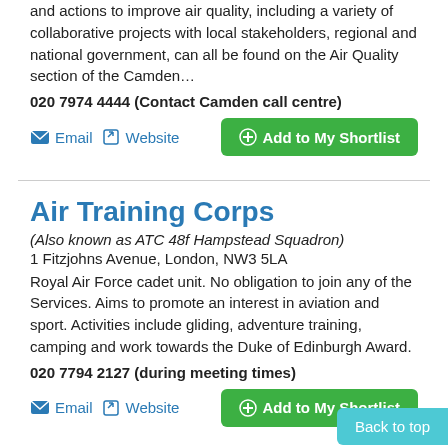and actions to improve air quality, including a variety of collaborative projects with local stakeholders, regional and national government, can all be found on the Air Quality section of the Camden…
020 7974 4444 (Contact Camden call centre)
Email   Website   Add to My Shortlist
Air Training Corps
(Also known as ATC 48f Hampstead Squadron)
1 Fitzjohns Avenue, London, NW3 5LA
Royal Air Force cadet unit. No obligation to join any of the Services. Aims to promote an interest in aviation and sport. Activities include gliding, adventure training, camping and work towards the Duke of Edinburgh Award.
020 7794 2127 (during meeting times)
Email   Website   Add to My Shortlist
Back to top